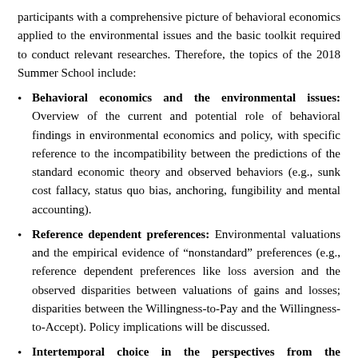participants with a comprehensive picture of behavioral economics applied to the environmental issues and the basic toolkit required to conduct relevant researches. Therefore, the topics of the 2018 Summer School include:
Behavioral economics and the environmental issues: Overview of the current and potential role of behavioral findings in environmental economics and policy, with specific reference to the incompatibility between the predictions of the standard economic theory and observed behaviors (e.g., sunk cost fallacy, status quo bias, anchoring, fungibility and mental accounting).
Reference dependent preferences: Environmental valuations and the empirical evidence of "nonstandard" preferences (e.g., reference dependent preferences like loss aversion and the observed disparities between valuations of gains and losses; disparities between the Willingness-to-Pay and the Willingness-to-Accept). Policy implications will be discussed.
Intertemporal choice in the perspectives from the behavioral theories: Intertemporal preferences and discounting values of future outcomes (e.g., exponential and